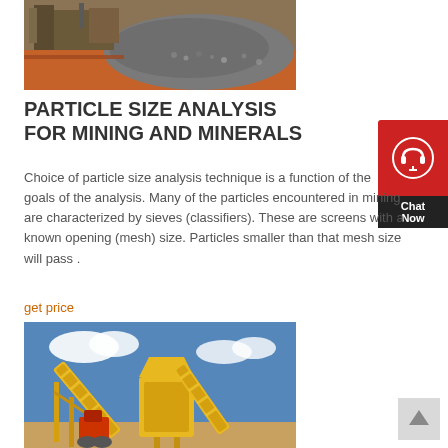[Figure (photo): Mining site with grey crushed stone pile, red dirt ground, and industrial machinery in background]
PARTICLE SIZE ANALYSIS FOR MINING AND MINERALS
Choice of particle size analysis technique is a function of the goals of the analysis. Many of the particles encountered in mining are characterized by sieves (classifiers). These are screens with a known opening (mesh) size. Particles smaller than that mesh size will pass .
get price
[Figure (photo): Yellow industrial mining conveyor belt and crushing equipment against blue sky with white clouds]
[Figure (other): Chat Now widget — red circular icon with headset, dark Chat Now label]